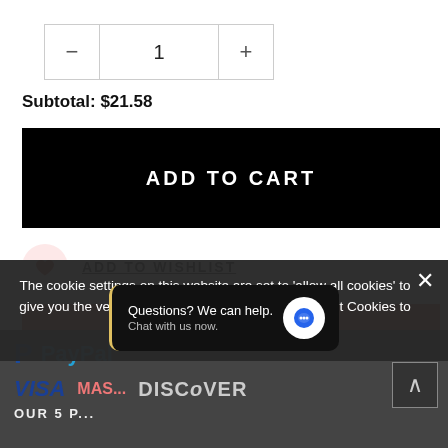— 1 +
Subtotal: $21.58
ADD TO CART
ADD TO WISHLIST
BUY IT NOW
[Figure (screenshot): Dark footer section showing PayPal and credit card logos (Visa, Mastercard, Discover) and partial 'OUR 5 P...' and '60 Day Money Back Guarantee' text]
The cookie settings on this website are set to 'allow all cookies' to give you the very best experience. Please click Accept Cookies to continue to use the site.
Questions? We can help. Chat with us now.